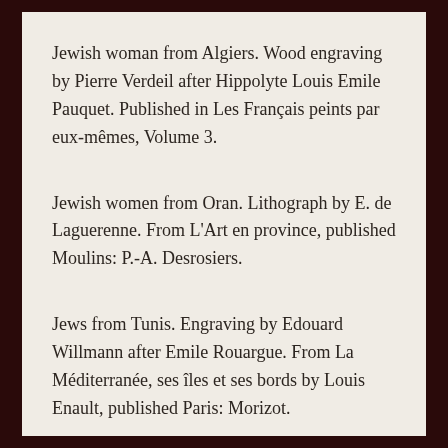Jewish woman from Algiers. Wood engraving by Pierre Verdeil after Hippolyte Louis Emile Pauquet. Published in Les Français peints par eux-mêmes, Volume 3.
Jewish women from Oran. Lithograph by E. de Laguerenne. From L'Art en province, published Moulins: P.-A. Desrosiers.
Jews from Tunis. Engraving by Edouard Willmann after Emile Rouargue. From La Méditerranée, ses îles et ses bords by Louis Enault, published Paris: Morizot.
Moses and the Ten Commandments. Mezzotint by